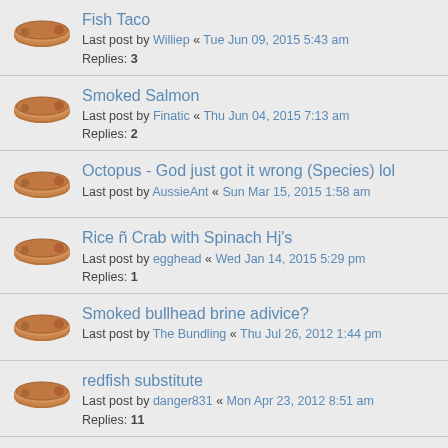Fish Taco
Last post by Williep « Tue Jun 09, 2015 5:43 am
Replies: 3
Smoked Salmon
Last post by Finatic « Thu Jun 04, 2015 7:13 am
Replies: 2
Octopus - God just got it wrong (Species) lol
Last post by AussieAnt « Sun Mar 15, 2015 1:58 am
Rice ñ Crab with Spinach Hj's
Last post by egghead « Wed Jan 14, 2015 5:29 pm
Replies: 1
Smoked bullhead brine adivice?
Last post by The Bundling « Thu Jul 26, 2012 1:44 pm
redfish substitute
Last post by danger831 « Mon Apr 23, 2012 8:51 am
Replies: 11
Smoked Trout - Teriyaki Marinade
Last post by TheGeorgianChef « Sun Oct 23, 2011 12:27 pm
Replies: 2
Blackened Snapper
Last post by BigTex33 « Thu Aug 04, 2011 9:04 am